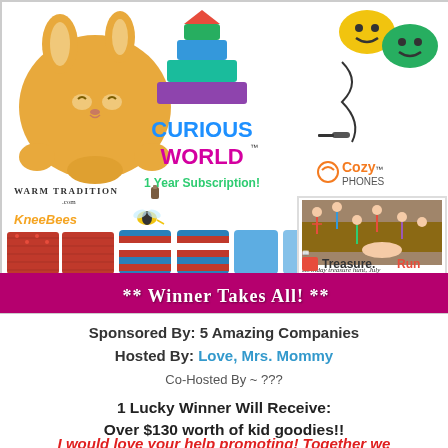[Figure (infographic): Collage image showing children's products: stuffed bunny pillow (Warm Tradition), colorful stacking blocks and Curious World 1 Year Subscription branding, CozyPhones headphones with smiley face, KneeBees knee pads and leg warmers in various colors, and a Polaroid-style photo of children playing labeled Treasure.Run. Bottom banner reads '** WINNER TAKES ALL! **' in white on magenta/purple background.]
Sponsored By: 5 Amazing Companies
Hosted By: Love, Mrs. Mommy
Co-Hosted By ~ ???
1 Lucky Winner Will Receive:
Over $130 worth of kid goodies!!
I would love your help promoting! Together we